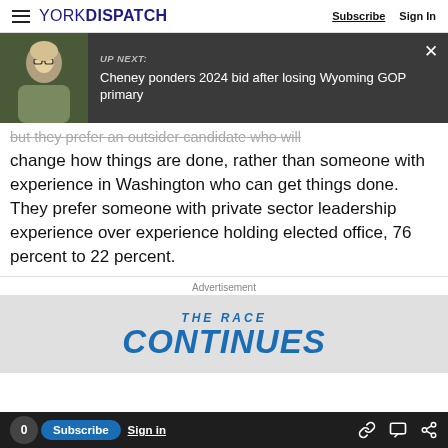YORK DISPATCH  Subscribe  Sign In
[Figure (screenshot): Up Next banner with photo of blonde woman with glasses, dark background, title: Cheney ponders 2024 bid after losing Wyoming GOP primary]
but they prefer an outsider candidate who will change how things are done, rather than someone with experience in Washington who can get things done. They prefer someone with private sector leadership experience over experience holding elected office, 76 percent to 22 percent.
Advertisement
[Figure (screenshot): Advertisement banner reading THE RACE CONTINUES in bold blue italic text]
0  Subscribe  Sign in